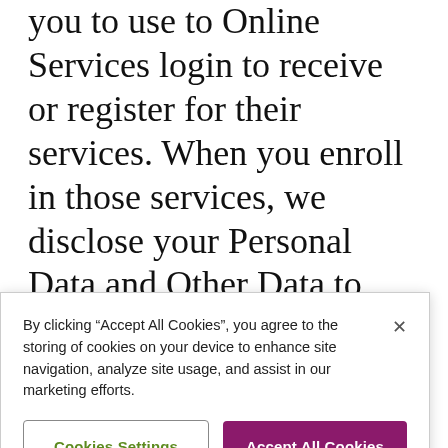you to use to Online Services login to receive or register for their services. When you enroll in those services, we disclose your Personal Data and Other Data to those third parties. If you do not want us to share your Personal Data or Other Data in this way, do not use your Online Services login to register for
By clicking “Accept All Cookies”, you agree to the storing of cookies on your device to enhance site navigation, analyze site usage, and assist in our marketing efforts.
Cookies Settings
Accept All Cookies